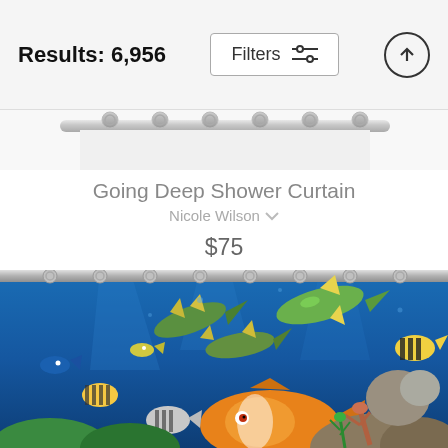Results: 6,956
Filters
Going Deep Shower Curtain
Nicole Wilson
$75
[Figure (photo): Colorful underwater ocean scene shower curtain showing tropical fish, yellowfin tuna, reef fish, and coral reef depicted in bright blues, greens, and yellows. A large orange fish is prominent in the foreground. The curtain is shown hanging on a white metal rod with silver rings.]